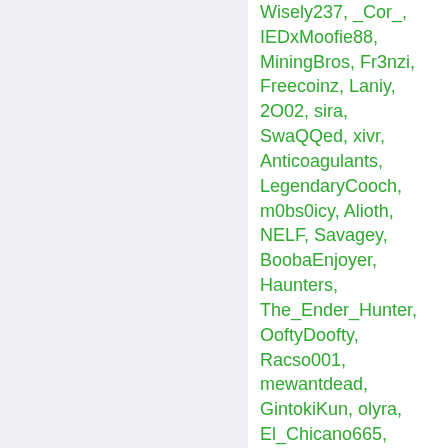Wisely237, _Cor_, IEDxMoofie88, MiningBros, Fr3nzi, Freecoinz, Laniy, 2O02, sira, SwaQQed, xivr, Anticoagulants, LegendaryCooch, m0bs0icy, Alioth, NELF, Savagey, BoobaEnjoyer, Haunters, The_Ender_Hunter, OoftyDoofty, Racso001, mewantdead, GintokiKun, olyra, El_Chicano665, ccomm, D4NKM3M35, Dreamers, O3y, Kidle, amberse, ajul, you_got_yeeted,